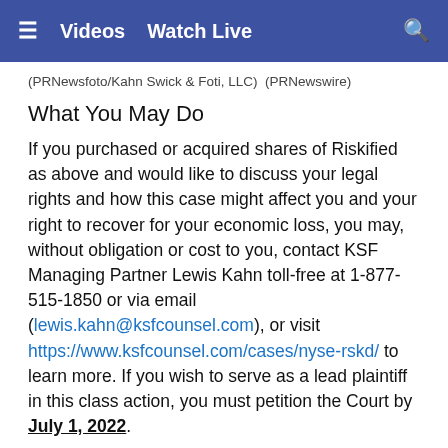≡  Videos  Watch Live  🔍
(PRNewsfoto/Kahn Swick & Foti, LLC)  (PRNewswire)
What You May Do
If you purchased or acquired shares of Riskified as above and would like to discuss your legal rights and how this case might affect you and your right to recover for your economic loss, you may, without obligation or cost to you, contact KSF Managing Partner Lewis Kahn toll-free at 1-877-515-1850 or via email (lewis.kahn@ksfcounsel.com), or visit https://www.ksfcounsel.com/cases/nyse-rskd/ to learn more. If you wish to serve as a lead plaintiff in this class action, you must petition the Court by July 1, 2022.
About the Lawsuit
Riskified and certain of its executives are charged with